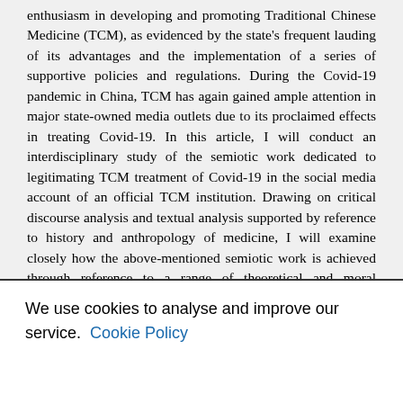enthusiasm in developing and promoting Traditional Chinese Medicine (TCM), as evidenced by the state's frequent lauding of its advantages and the implementation of a series of supportive policies and regulations. During the Covid-19 pandemic in China, TCM has again gained ample attention in major state-owned media outlets due to its proclaimed effects in treating Covid-19. In this article, I will conduct an interdisciplinary study of the semiotic work dedicated to legitimating TCM treatment of Covid-19 in the social media account of an official TCM institution. Drawing on critical discourse analysis and textual analysis supported by reference to history and anthropology of medicine, I will examine closely how the above-mentioned semiotic work is achieved through reference to a range of theoretical and moral arguments. Moreover, the paradoxes and inconsistencies in this process of semiotic construction will be discussed to shed light on the deeper issues concerning the entangled relationship of health science and politics in China, as well as the epistemological difficulties in promoting TCM inside
We use cookies to analyse and improve our service. Cookie Policy